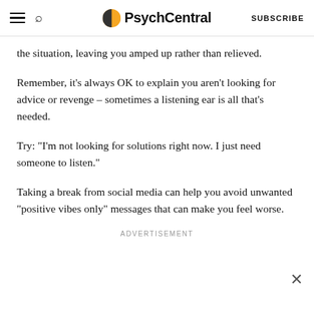PsychCentral  SUBSCRIBE
the situation, leaving you amped up rather than relieved.
Remember, it’s always OK to explain you aren’t looking for advice or revenge – sometimes a listening ear is all that’s needed.
Try: “I’m not looking for solutions right now. I just need someone to listen.”
Taking a break from social media can help you avoid unwanted “positive vibes only” messages that can make you feel worse.
ADVERTISEMENT